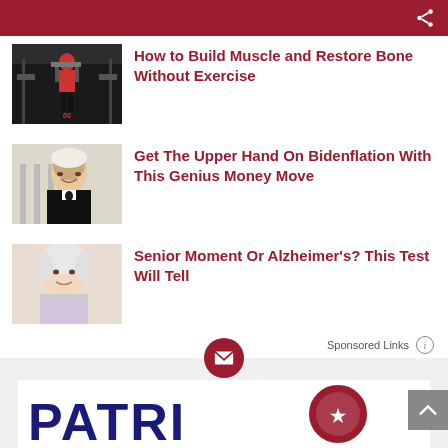How to Build Muscle and Restore Bone Without Exercise
[Figure (photo): Person doing weightlifting/exercise at a gym]
Get The Upper Hand On Bidenflation With This Genius Money Move
[Figure (photo): Elderly man in tuxedo smiling]
Senior Moment Or Alzheimer's? This Test Will Tell
[Figure (photo): Elderly woman with white hair]
Sponsored Links
[Figure (logo): Patriot logo with envelope icon and PATRI_ text]